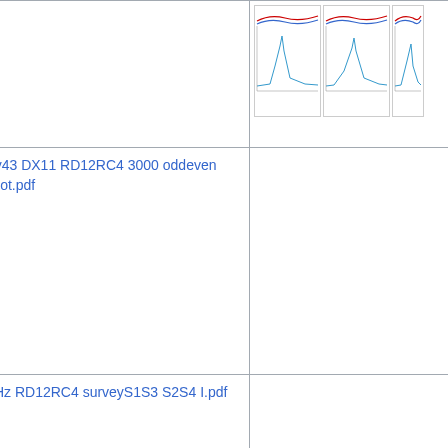| Date | File/Link | Thumbnail |
| --- | --- | --- |
| 2017 | (file) | [chart image] |
| 10:05, 17 November 2017 | Cl fsky43 DX11 RD12RC4 3000 oddeven multiplot.pdf (file) |  |
| 16:41, 16 November 2017 | 857GHz RD12RC4 surveyS1S3 S2S4 I.pdf (file) |  |
| 16:40, 16 November 2017 | 857GHz DX11 |  |